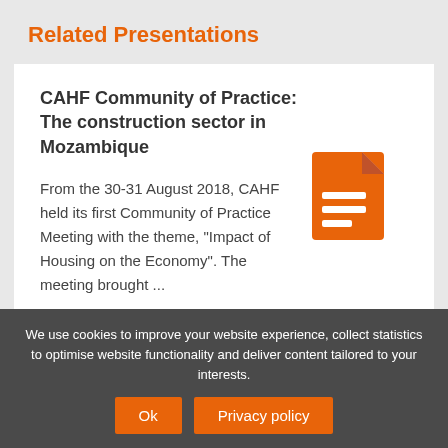Related Presentations
CAHF Community of Practice: The construction sector in Mozambique
[Figure (illustration): Orange document/file icon with horizontal lines representing text on the page]
From the 30-31 August 2018, CAHF held its first Community of Practice Meeting with the theme, “Impact of Housing on the Economy”. The meeting brought ...
We use cookies to improve your website experience, collect statistics to optimise website functionality and deliver content tailored to your interests.